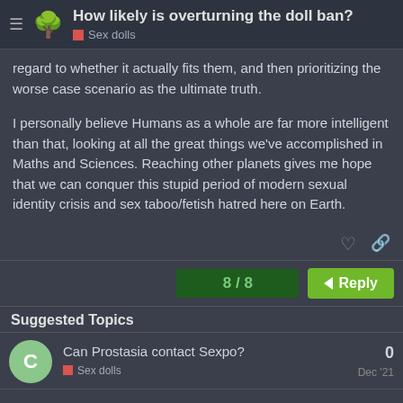How likely is overturning the doll ban? | Sex dolls
regard to whether it actually fits them, and then prioritizing the worse case scenario as the ultimate truth.
I personally believe Humans as a whole are far more intelligent than that, looking at all the great things we've accomplished in Maths and Sciences. Reaching other planets gives me hope that we can conquer this stupid period of modern sexual identity crisis and sex taboo/fetish hatred here on Earth.
8 / 8
Reply
Suggested Topics
Can Prostasia contact Sexpo? | Sex dolls | Dec '21 | 0